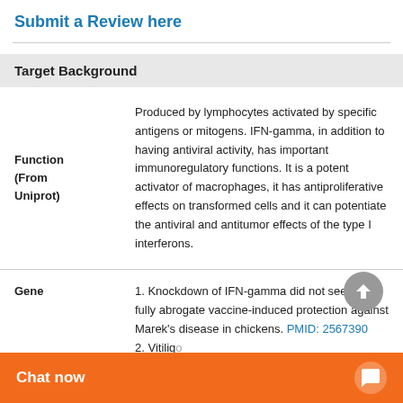Submit a Review here
Target Background
|  |  |
| --- | --- |
| Function (From Uniprot) | Produced by lymphocytes activated by specific antigens or mitogens. IFN-gamma, in addition to having antiviral activity, has important immunoregulatory functions. It is a potent activator of macrophages, it has antiproliferative effects on transformed cells and it can potentiate the antiviral and antitumor effects of the type I interferons. |
| Gene | 1. Knockdown of IFN-gamma did not seem to fully abrogate vaccine-induced protection against Marek's disease in chickens. PMID: 2567390...
2. Vitilig... |